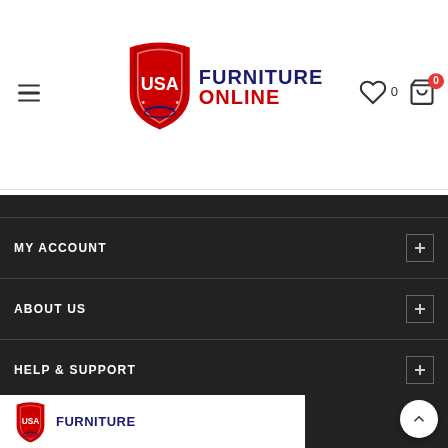[Figure (logo): USA Furniture Online logo with red shield, navy and red text]
MY ACCOUNT
ABOUT US
HELP & SUPPORT
[Figure (logo): USA Furniture Online logo repeated at bottom of page]